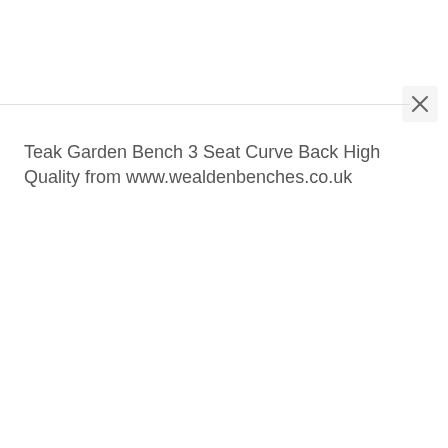[Figure (screenshot): Close (X) button in upper right area of a dialog or overlay]
Teak Garden Bench 3 Seat Curve Back High Quality from www.wealdenbenches.co.uk